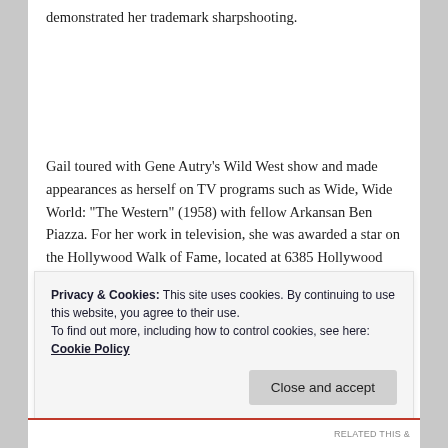demonstrated her trademark sharpshooting.
Gail toured with Gene Autry’s Wild West show and made appearances as herself on TV programs such as Wide, Wide World: “The Western” (1958) with fellow Arkansan Ben Piazza. For her work in television, she was awarded a star on the Hollywood Walk of Fame, located at 6385 Hollywood Boulevard, and in 2004, she was inducted posthumously into the National Cowgirl Hall of Fame.
Privacy & Cookies: This site uses cookies. By continuing to use this website, you agree to their use.
To find out more, including how to control cookies, see here: Cookie Policy
Close and accept